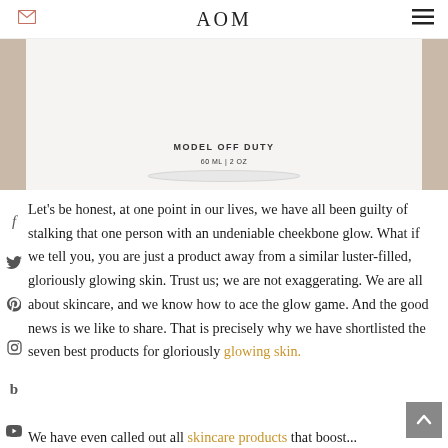AOM
[Figure (photo): Product image showing a bottle labeled MODEL OFF DUTY on a beige background]
Let's be honest, at one point in our lives, we have all been guilty of stalking that one person with an undeniable cheekbone glow. What if we tell you, you are just a product away from a similar luster-filled, gloriously glowing skin. Trust us; we are not exaggerating. We are all about skincare, and we know how to ace the glow game. And the good news is we like to share. That is precisely why we have shortlisted the seven best products for gloriously glowing skin.
We have even called out all skincare products that boost...